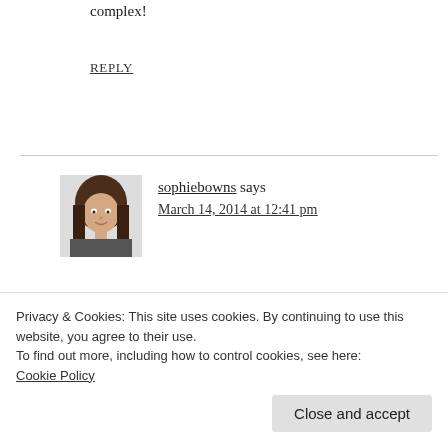complex!
REPLY
[Figure (photo): Avatar photo of sophiebowns, a young woman with brown hair]
sophiebowns says
March 14, 2014 at 12:41 pm
I love your baking selection. You have talent!
Privacy & Cookies: This site uses cookies. By continuing to use this website, you agree to their use.
To find out more, including how to control cookies, see here:
Cookie Policy
Close and accept